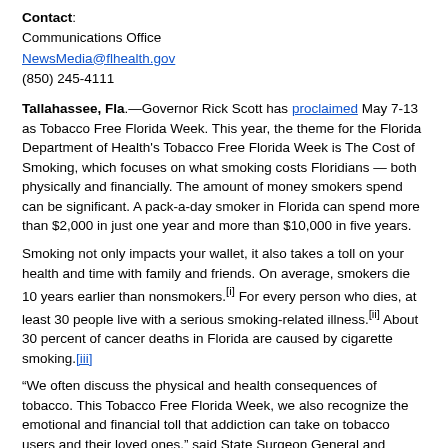Contact:
Communications Office
NewsMedia@flhealth.gov
(850) 245-4111
Tallahassee, Fla.—Governor Rick Scott has proclaimed May 7-13 as Tobacco Free Florida Week. This year, the theme for the Florida Department of Health's Tobacco Free Florida Week is The Cost of Smoking, which focuses on what smoking costs Floridians — both physically and financially. The amount of money smokers spend can be significant. A pack-a-day smoker in Florida can spend more than $2,000 in just one year and more than $10,000 in five years.
Smoking not only impacts your wallet, it also takes a toll on your health and time with family and friends. On average, smokers die 10 years earlier than nonsmokers.[i] For every person who dies, at least 30 people live with a serious smoking-related illness.[ii] About 30 percent of cancer deaths in Florida are caused by cigarette smoking.[iii]
“We often discuss the physical and health consequences of tobacco. This Tobacco Free Florida Week, we also recognize the emotional and financial toll that addiction can take on tobacco users and their loved ones,” said State Surgeon General and Secretary Dr. Celeste Philip. “Pack-a-day smokers in Florida can save more than $2,000 per year if they quit. They can also live longer and more fulfilling lives.”
The cost of smoking is not just on a personal level. Sick smokers incur significant health costs. A reduction in the number of smokers positively impacts that state. For example:
The reduction in adult smoking rates from 2007 to 2015 resulted in approximately $17.7 billion in savings in cumulative